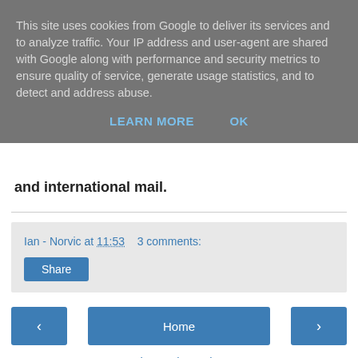This site uses cookies from Google to deliver its services and to analyze traffic. Your IP address and user-agent are shared with Google along with performance and security metrics to ensure quality of service, generate usage statistics, and to detect and address abuse.
LEARN MORE   OK
and international mail.
Ian - Norvic at 11:53   3 comments:
Share
‹   Home   ›
View web version
Contributors